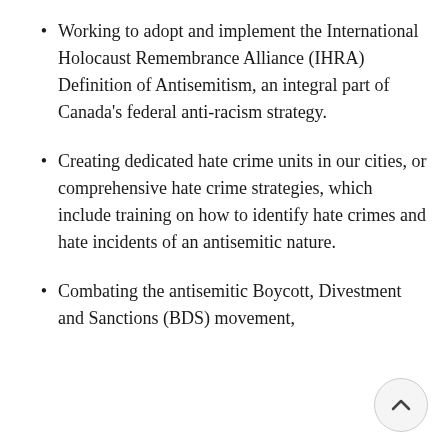Working to adopt and implement the International Holocaust Remembrance Alliance (IHRA) Definition of Antisemitism, an integral part of Canada's federal anti-racism strategy.
Creating dedicated hate crime units in our cities, or comprehensive hate crime strategies, which include training on how to identify hate crimes and hate incidents of an antisemitic nature.
Combating the antisemitic Boycott, Divestment and Sanctions (BDS) movement,